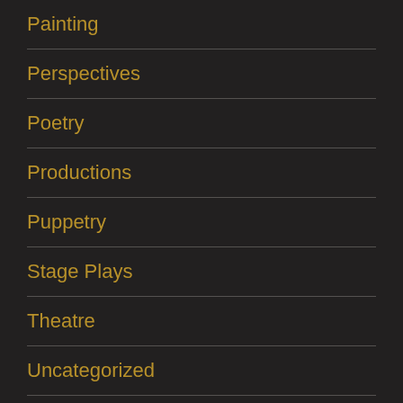Painting
Perspectives
Poetry
Productions
Puppetry
Stage Plays
Theatre
Uncategorized